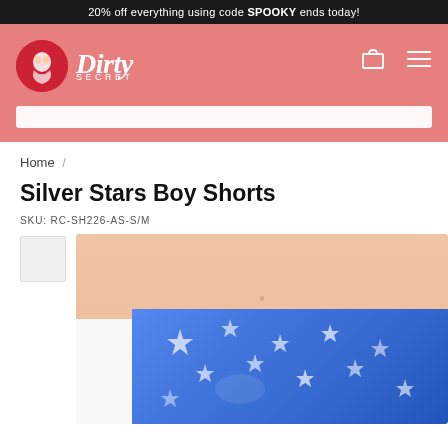20% off everything using code SPOOKY ends today!
[Figure (logo): Dirty Secret brand logo: red circle with stylized figure, white italic text 'Dirty' and 'SECRET' below]
Home /
Silver Stars Boy Shorts
SKU: RC-SH226-AS-S/M
[Figure (photo): Product photo of Silver Stars Boy Shorts: blue metallic shorts with silver star pattern, worn by a model showing midriff area]